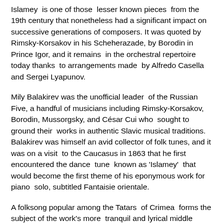Islamey is one of those lesser known pieces from the 19th century that nonetheless had a significant impact on successive generations of composers. It was quoted by Rimsky-Korsakov in his Scheherazade, by Borodin in Prince Igor, and it remains in the orchestral repertoire today thanks to arrangements made by Alfredo Casella and Sergei Lyapunov.
Mily Balakirev was the unofficial leader of the Russian Five, a handful of musicians including Rimsky-Korsakov, Borodin, Mussorgsky, and César Cui who sought to ground their works in authentic Slavic musical traditions. Balakirev was himself an avid collector of folk tunes, and it was on a visit to the Caucasus in 1863 that he first encountered the dance tune known as 'Islamey' that would become the first theme of his eponymous work for piano solo, subtitled Fantaisie orientale.
A folksong popular among the Tatars of Crimea forms the subject of the work's more tranquil and lyrical middle section.